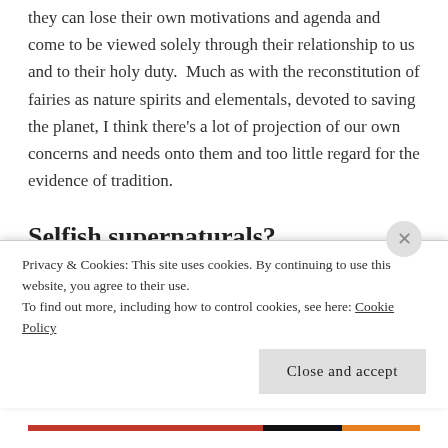themselves. Once they have their mission from God, they can lose their own motivations and agenda and come to be viewed solely through their relationship to us and to their holy duty.  Much as with the reconstitution of fairies as nature spirits and elementals, devoted to saving the planet, I think there's a lot of projection of our own concerns and needs onto them and too little regard for the evidence of tradition.
Selfish supernaturals?
In the 2017 book Fairies: Power, Danger...
Privacy & Cookies: This site uses cookies. By continuing to use this website, you agree to their use.
To find out more, including how to control cookies, see here: Cookie Policy
Close and accept